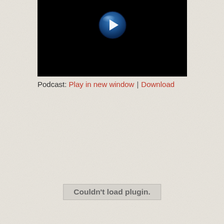[Figure (screenshot): Black video player area with a blue circular play button (white triangle pointing right) centered near the top of the black rectangle.]
Podcast: Play in new window | Download
Couldn't load plugin.